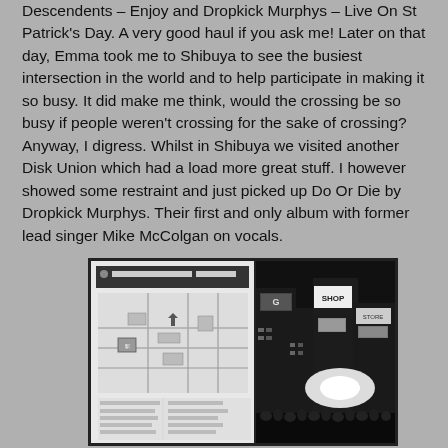Descendents – Enjoy and Dropkick Murphys – Live On St Patrick's Day. A very good haul if you ask me! Later on that day, Emma took me to Shibuya to see the busiest intersection in the world and to help participate in making it so busy. It did make me think, would the crossing be so busy if people weren't crossing for the sake of crossing? Anyway, I digress. Whilst in Shibuya we visited another Disk Union which had a load more great stuff. I however showed some restraint and just picked up Do Or Die by Dropkick Murphys. Their first and only album with former lead singer Mike McColgan on vocals.
[Figure (photo): Two side-by-side black and white photos: left shows a Disk Union area map/directory board with Japanese text and a street map; right shows the busy Shibuya intersection at night with illuminated buildings and billboards and a crowd of people.]